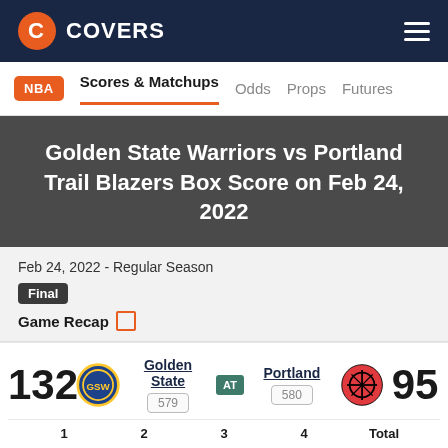COVERS
NBA  Scores & Matchups  Odds  Props  Futures
Golden State Warriors vs Portland Trail Blazers Box Score on Feb 24, 2022
Feb 24, 2022 - Regular Season
Final
Game Recap
|  | Golden State | AT | Portland |  |
| --- | --- | --- | --- | --- |
| 132 | 579 |  | 580 | 95 |
|  | 1 | 2 | 3 | 4 | Total |
1  2  3  4  Total